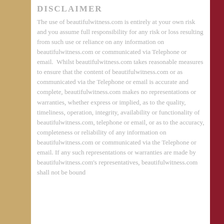DISCLAIMER
The use of beautifulwitness.com is entirely at your own risk and you assume full responsibility for any risk or loss resulting from such use or reliance on any information on beautifulwitness.com or communicated via Telephone or email.  Whilst beautifulwitness.com takes reasonable measures to ensure that the content of beautifulwitness.com or as communicated via the Telephone or email is accurate and complete, beautifulwitness.com makes no representations or warranties, whether express or implied, as to the quality, timeliness, operation, integrity, availability or functionality of beautifulwitness.com, telephone or email, or as to the accuracy, completeness or reliability of any information on beautifulwitness.com or communicated via the Telephone or email. If any such representations or warranties are made by beautifulwitness.com's representatives, beautifulwitness.com shall not be bound